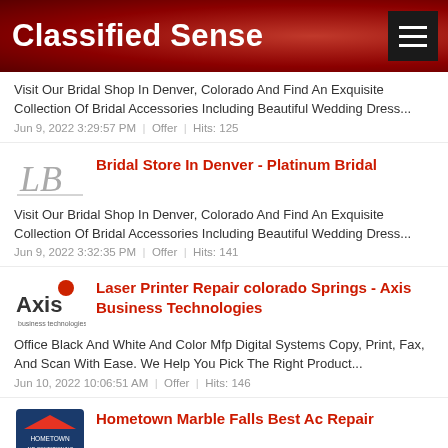Classified Sense
Visit Our Bridal Shop In Denver, Colorado And Find An Exquisite Collection Of Bridal Accessories Including Beautiful Wedding Dress...
Jun 9, 2022 3:29:57 PM  |  Offer  |  Hits: 125
Bridal Store In Denver - Platinum Bridal
Visit Our Bridal Shop In Denver, Colorado And Find An Exquisite Collection Of Bridal Accessories Including Beautiful Wedding Dress...
Jun 9, 2022 3:32:35 PM  |  Offer  |  Hits: 141
Laser Printer Repair colorado Springs - Axis Business Technologies
Office Black And White And Color Mfp Digital Systems Copy, Print, Fax, And Scan With Ease. We Help You Pick The Right Product...
Jun 10, 2022 10:06:51 AM  |  Offer  |  Hits: 146
Hometown Marble Falls Best Ac Repair
Ac Repair And Hvac Service, Maintenance, Sales And Repairs. Some Of The Areas We Cover Include Marble...